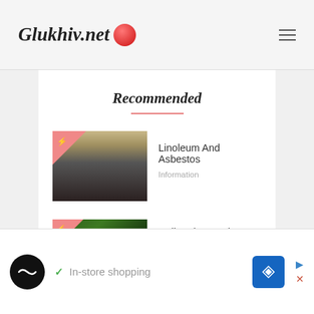Glukhiv.net
Recommended
[Figure (photo): Thumbnail photo of linoleum flooring with a pink triangle badge]
Linoleum And Asbestos
Information
[Figure (photo): Thumbnail photo of holly plant with green leaves and a pink triangle badge]
Holly: Plant And Cultivation
In-store shopping